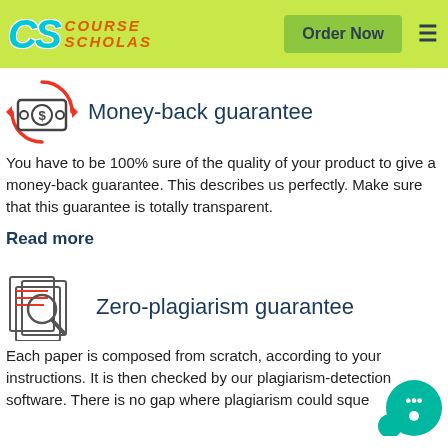Course Scholas — Order Now
[Figure (logo): Course Scholas logo with CS letters and money-back guarantee icon (circular arrows around money/cash icon)]
Money-back guarantee
You have to be 100% sure of the quality of your product to give a money-back guarantee. This describes us perfectly. Make sure that this guarantee is totally transparent.
Read more
[Figure (logo): Zero-plagiarism guarantee icon: magnifying glass over document pages]
Zero-plagiarism guarantee
Each paper is composed from scratch, according to your instructions. It is then checked by our plagiarism-detection software. There is no gap where plagiarism could sque...